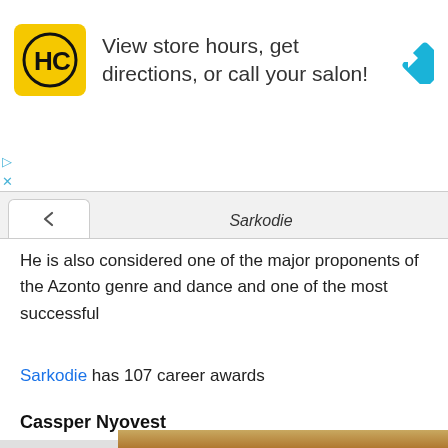[Figure (screenshot): Top advertisement banner: HC logo on yellow background, text 'View store hours, get directions, or call your salon!', blue diamond arrow icon on right. Ad controls (play/close) on left side.]
Sarkodie
He is also considered one of the major proponents of the Azonto genre and dance and one of the most successful
Sarkodie has 107 career awards
Cassper Nyovest
[Figure (photo): Bottom advertisement area showing food (bread rolls/buns) photo with a nested HC salon advertisement and close button overlay.]